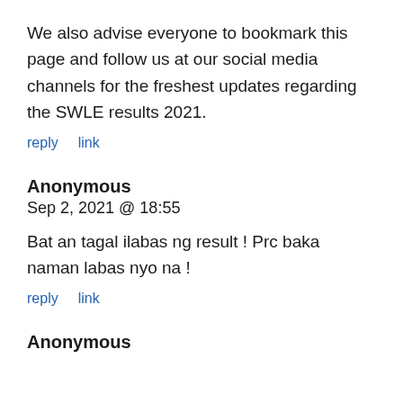We also advise everyone to bookmark this page and follow us at our social media channels for the freshest updates regarding the SWLE results 2021.
reply   link
Anonymous
Sep 2, 2021 @ 18:55
Bat an tagal ilabas ng result ! Prc baka naman labas nyo na !
reply   link
Anonymous